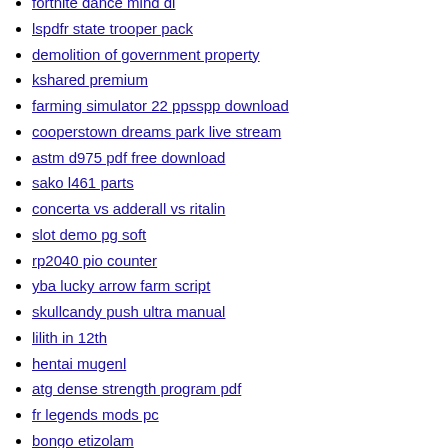fortnite dance mind di
lspdfr state trooper pack
demolition of government property
kshared premium
farming simulator 22 ppsspp download
cooperstown dreams park live stream
astm d975 pdf free download
sako l461 parts
concerta vs adderall vs ritalin
slot demo pg soft
rp2040 pio counter
yba lucky arrow farm script
skullcandy push ultra manual
lilith in 12th
hentai mugenl
atg dense strength program pdf
fr legends mods pc
bongo etizolam
easyminer not detecting gpu
linuxfx download iso 64 bit
bloxton hotels training guide for helpers 2021
fnf chart maker
tan mo novel
healthstream ekg test answers
quordle game
starport modstar login